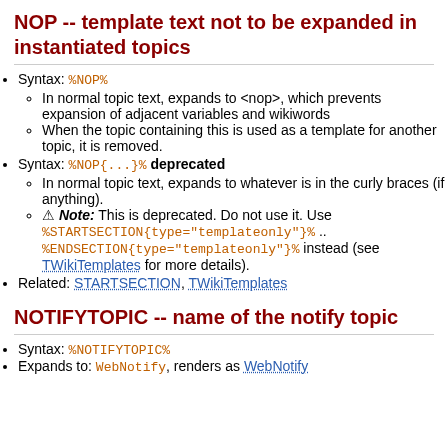NOP -- template text not to be expanded in instantiated topics
Syntax: %NOP%
In normal topic text, expands to <nop>, which prevents expansion of adjacent variables and wikiwords
When the topic containing this is used as a template for another topic, it is removed.
Syntax: %NOP{...}% deprecated
In normal topic text, expands to whatever is in the curly braces (if anything).
⚠ Note: This is deprecated. Do not use it. Use %STARTSECTION{type="templateonly"}% .. %ENDSECTION{type="templateonly"}% instead (see TWikiTemplates for more details).
Related: STARTSECTION, TWikiTemplates
NOTIFYTOPIC -- name of the notify topic
Syntax: %NOTIFYTOPIC%
Expands to: WebNotify, renders as WebNotify